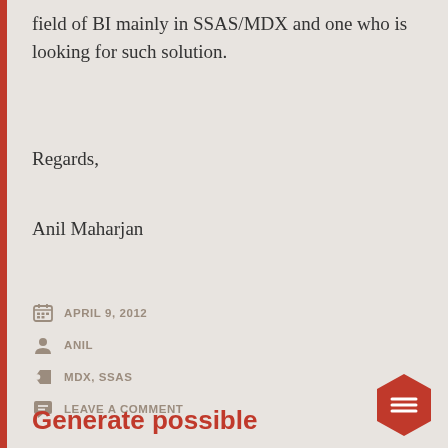field of BI mainly in SSAS/MDX and one who is looking for such solution.
Regards,
Anil Maharjan
APRIL 9, 2012
ANIL
MDX, SSAS
LEAVE A COMMENT
Generate possible